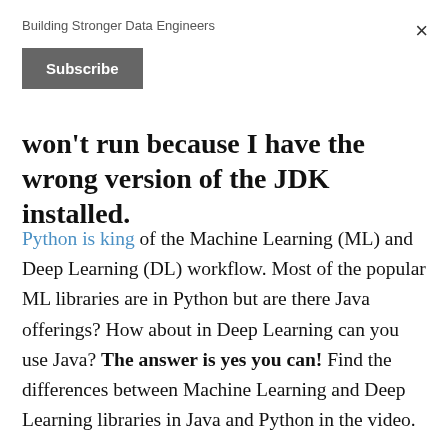Building Stronger Data Engineers
Subscribe
won't run because I have the wrong version of the JDK installed.
Python is king of the Machine Learning (ML) and Deep Learning (DL) workflow. Most of the popular ML libraries are in Python but are there Java offerings? How about in Deep Learning can you use Java? The answer is yes you can! Find the differences between Machine Learning and Deep Learning libraries in Java and Python in the video.